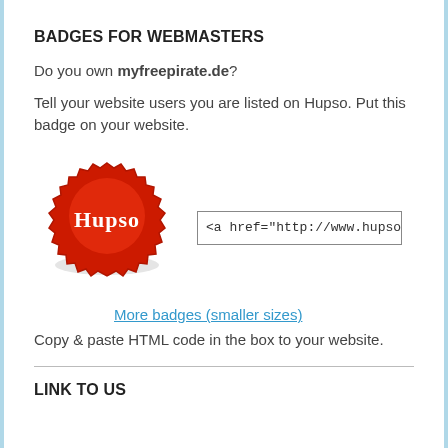BADGES FOR WEBMASTERS
Do you own myfreepirate.de?
Tell your website users you are listed on Hupso. Put this badge on your website.
[Figure (logo): Red Hupso badge/seal with serrated edge and white text 'Hupso' in the center, next to a text input box showing '<a href="http://www.hupso.com/h']
More badges (smaller sizes)
Copy & paste HTML code in the box to your website.
LINK TO US